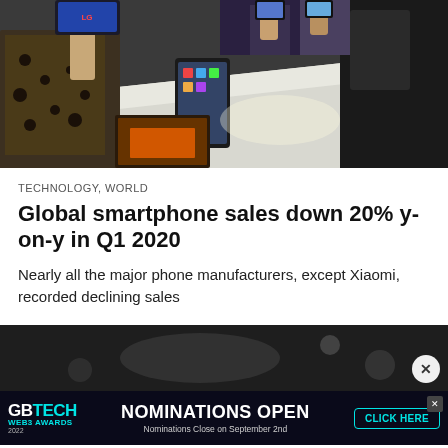[Figure (photo): People at a trade show or event gathered around a white table, looking at and handling smartphones on display. One person wearing a leopard-print outfit is visible in the foreground.]
TECHNOLOGY, WORLD
Global smartphone sales down 20% y-on-y in Q1 2020
Nearly all the major phone manufacturers, except Xiaomi, recorded declining sales
[Figure (photo): Dark, dimly lit image, partial view, likely a secondary article preview image.]
[Figure (other): Advertisement banner: GBTECH WEB3 AWARDS 2022, NOMINATIONS OPEN, Nominations Close on September 2nd, CLICK HERE button. Close (X) button visible.]